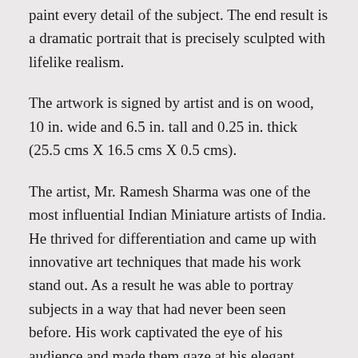paint every detail of the subject. The end result is a dramatic portrait that is precisely sculpted with lifelike realism.
The artwork is signed by artist and is on wood, 10 in. wide and 6.5 in. tall and 0.25 in. thick (25.5 cms X 16.5 cms X 0.5 cms).
The artist, Mr. Ramesh Sharma was one of the most influential Indian Miniature artists of India. He thrived for differentiation and came up with innovative art techniques that made his work stand out. As a result he was able to portray subjects in a way that had never been seen before. His work captivated the eye of his audience and made them gaze at his elegant technique with awe and appreciation. His contribution to the world of art will be cherished for years to come.
Mr. Sharma’s work of art have been auctioned at Christie’s and presented at art exhibitions worldwide. And since the artist is known as one on this types of artists to produce digitally submitted it...